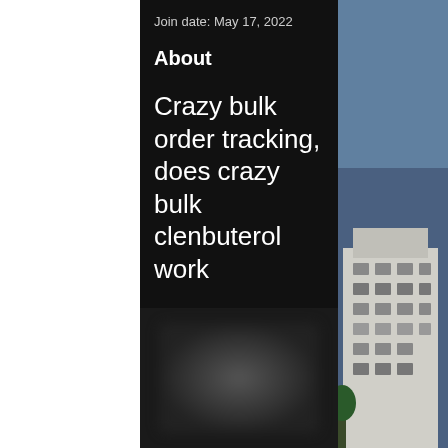Join date: May 17, 2022
About
Crazy bulk order tracking, does crazy bulk clenbuterol work
Crazy bulk order tracking, does crazy bulk clenbuterol work - Buy legal anabolic steroids
[Figure (photo): Blurred product image at bottom of content area]